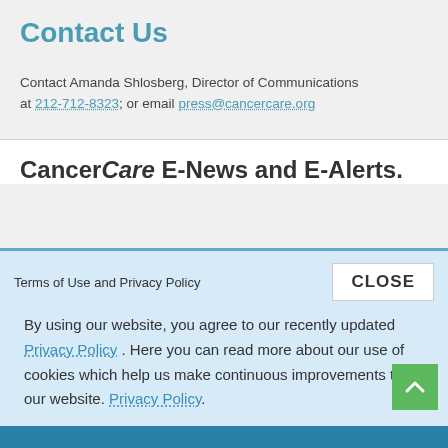Contact Us
Contact Amanda Shlosberg, Director of Communications at 212-712-8323; or email press@cancercare.org
CancerCare E-News and E-Alerts.
Terms of Service and Privacy Policy
CLOSE
By using our website, you agree to our recently updated Privacy Policy . Here you can read more about our use of cookies which help us make continuous improvements to our website. Privacy Policy.